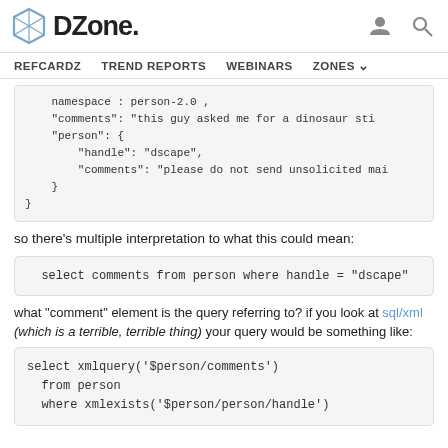DZone. REFCARDZ TREND REPORTS WEBINARS ZONES
namespace : person-2.0 ,
"comments": "this guy asked me for a dinosaur sti
"person": {
    "handle": "dscape",
    "comments": "please do not send unsolicited mai
  }
}
so there's multiple interpretation to what this could mean:
select comments from person where handle = "dscape"
what "comment" element is the query referring to? if you look at sql/xml (which is a terrible, terrible thing) your query would be something like:
select xmlquery('$person/comments')
from person
where xmlexists('$person/person/handle')